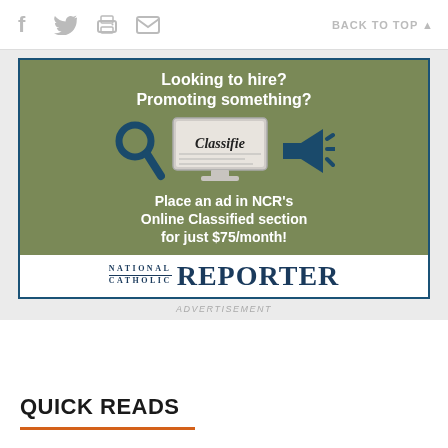social icons | BACK TO TOP
[Figure (infographic): NCR Online Classifieds advertisement: 'Looking to hire? Promoting something? Place an ad in NCR's Online Classified section for just $75/month!' with National Catholic Reporter logo]
ADVERTISEMENT
QUICK READS